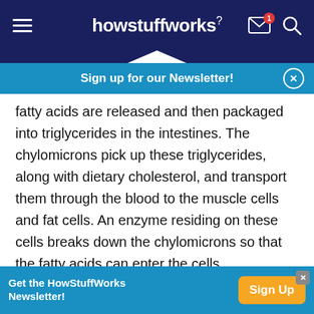howstuffworks
Sign up for our Newsletter!
fatty acids are released and then packaged into triglycerides in the intestines. The chylomicrons pick up these triglycerides, along with dietary cholesterol, and transport them through the blood to the muscle cells and fat cells. An enzyme residing on these cells breaks down the chylomicrons so that the fatty acids can enter the cells.
Cholesterol is left behind in the remnant, which makes its way to the liver. The enzyme works
Get the HowStuffWorks Newsletter!  Sign Up